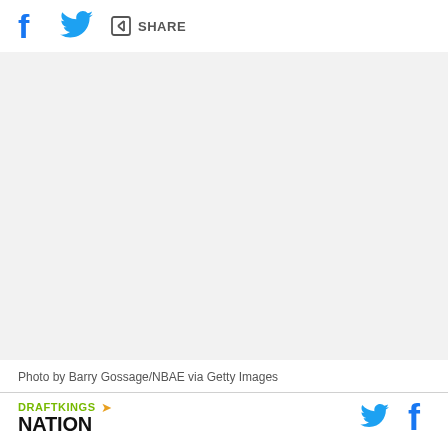f [twitter icon] [share icon] SHARE
[Figure (photo): Large photo area (white/blank in this rendering) — sports photo credited to Barry Gossage/NBAE via Getty Images]
Photo by Barry Gossage/NBAE via Getty Images
DRAFTKINGS NATION [twitter icon] [facebook icon]